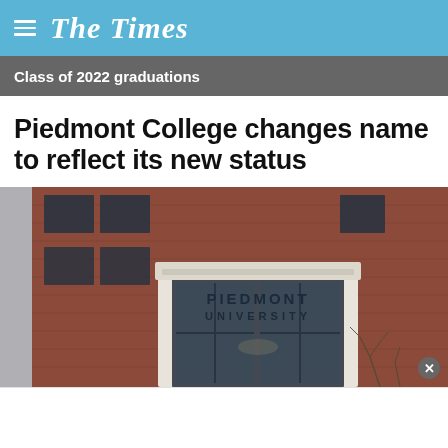The Times
Class of 2022 graduations
Piedmont College changes name to reflect its new status
[Figure (photo): Exterior photo of a brick university building with dark windows, showing a white stone sign reading PIEDMONT UNIVERSITY]